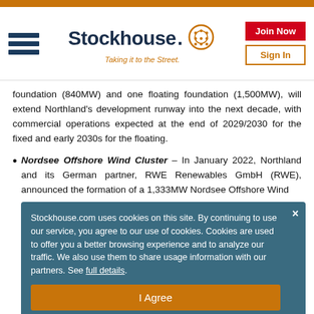[Figure (logo): Stockhouse logo with hamburger menu, logo text 'Stockhouse.' with orange head icon, tagline 'Taking it to the Street.', and Join Now / Sign In buttons]
foundation (840MW) and one floating foundation (1,500MW), will extend Northland's development runway into the next decade, with commercial operations expected at the end of 2029/2030 for the fixed and early 2030s for the floating.
Nordsee Offshore Wind Cluster – In January 2022, Northland and its German partner, RWE Renewables GmbH (RWE), announced the formation of a 1,333MW Nordsee Offshore Wind
Stockhouse.com uses cookies on this site. By continuing to use our service, you agree to our use of cookies. Cookies are used to offer you a better browsing experience and to analyze our traffic. We also use them to share usage information with our partners. See full details.
I Agree